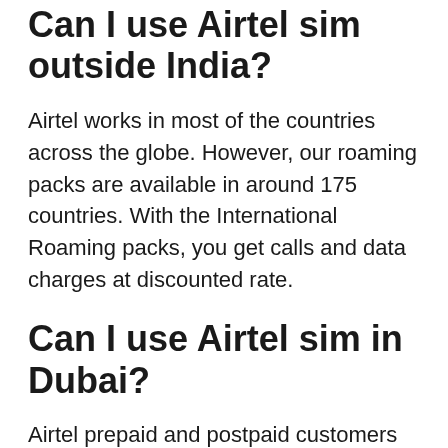Can I use Airtel sim outside India?
Airtel works in most of the countries across the globe. However, our roaming packs are available in around 175 countries. With the International Roaming packs, you get calls and data charges at discounted rate.
Can I use Airtel sim in Dubai?
Airtel prepaid and postpaid customers can activate the new international roaming packs at any time and pay only when actually used. The packs are available for US and Canada, Singapore, UK, and the UAE. In the US, Canada, UK, and the UAE, the one-day